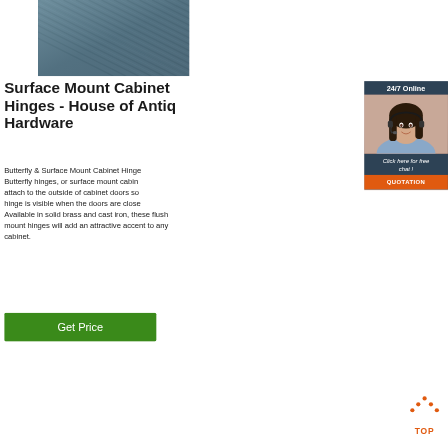[Figure (photo): Close-up photo of dark teal/gray ridged metal or fabric surface with diagonal lines]
Surface Mount Cabinet Hinges - House of Antique Hardware
Butterfly & Surface Mount Cabinet Hinges. Butterfly hinges, or surface mount cabinet hinges, attach to the outside of cabinet doors so the hinge is visible when the doors are closed. Available in solid brass and cast iron, these flush mount hinges will add an attractive accent to any cabinet.
[Figure (infographic): 24/7 Online chat widget with woman wearing headset, 'Click here for free chat!' text and orange QUOTATION button]
[Figure (other): Orange TOP icon with dots forming a house/arrow shape above the text TOP]
Get Price